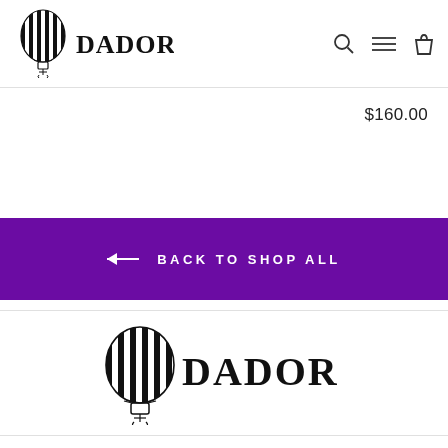DADOR
$160.00
← BACK TO SHOP ALL
[Figure (logo): DADOR brand logo with hot air balloon and anchor, black and white striped balloon with DADOR text in stylized font]